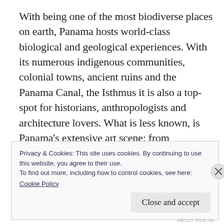With being one of the most biodiverse places on earth, Panama hosts world-class biological and geological experiences. With its numerous indigenous communities, colonial towns, ancient ruins and the Panama Canal, the Isthmus it is also a top-spot for historians, anthropologists and architecture lovers. What is less known, is Panama's extensive art scene; from numerous galleries in the capital, Afro-Caribbean remains and indigenous handicrafts to artisans dating back to colonial times.
Privacy & Cookies: This site uses cookies. By continuing to use this website, you agree to their use.
To find out more, including how to control cookies, see here:
Cookie Policy